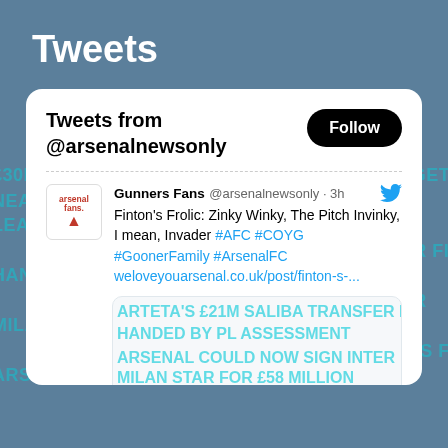Tweets
Tweets from @arsenalnewsonly
Gunners Fans @arsenalnewsonly · 3h
Finton's Frolic: Zinky Winky, The Pitch Invinky, I mean, Invader #AFC #COYG #GoonerFamily #ArsenalFC
weloveyouarsenal.co.uk/post/finton-s-...
£30M CLAUSE REVEALED FOR ARSENAL TARGET
NEAR CLOSING IN ON JOINING PREMIER LEAGUE SIDE ARSENAL FROM BARCA
ARTETA'S £21M SALIBA TRANSFER FIX HANDED BY PL ASSESSMENT
ARSENAL COULD NOW SIGN INTER MILAN STAR FOR £58 MILLION
BENFICA BRACED FOR FRESH BIDS FOR ARSENAL SUMMER TARGET